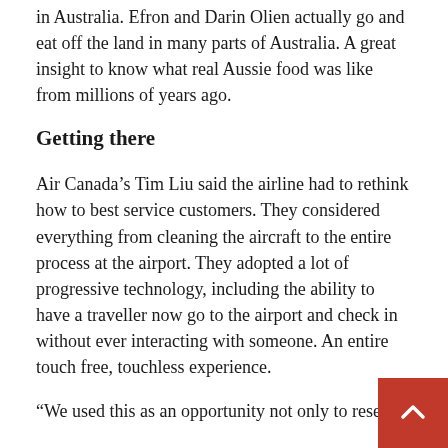in Australia. Efron and Darin Olien actually go and eat off the land in many parts of Australia. A great insight to know what real Aussie food was like from millions of years ago.
Getting there
Air Canada's Tim Liu said the airline had to rethink how to best service customers. They considered everything from cleaning the aircraft to the entire process at the airport. They adopted a lot of progressive technology, including the ability to have a traveller now go to the airport and check in without ever interacting with someone. An entire touch free, touchless experience.
“We used this as an opportunity not only to reset a